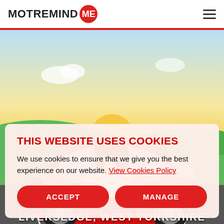MOTREMIND ME
[Figure (illustration): Animated illustration of a smiling woman with brown hair leaning out of a red car on a road with green hills and a sunset sky background]
THIS WEBSITE USES COOKIES
We use cookies to ensure that we give you the best experience on our website. View Cookies Policy
ACCEPT
MANAGE
LIVERSEDGE, WEST YORKSHIRE